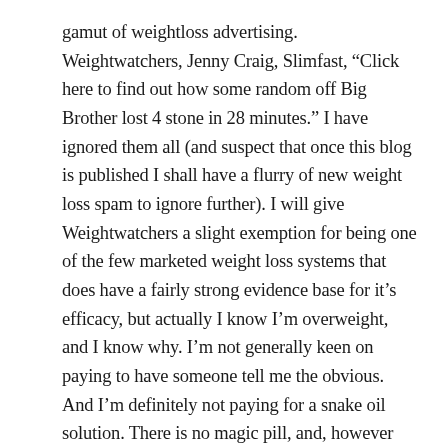gamut of weightloss advertising. Weightwatchers, Jenny Craig, Slimfast, “Click here to find out how some random off Big Brother lost 4 stone in 28 minutes.” I have ignored them all (and suspect that once this blog is published I shall have a flurry of new weight loss spam to ignore further). I will give Weightwatchers a slight exemption for being one of the few marketed weight loss systems that does have a fairly strong evidence base for it’s efficacy, but actually I know I’m overweight, and I know why. I’m not generally keen on paying to have someone tell me the obvious. And I’m definitely not paying for a snake oil solution. There is no magic pill, and, however well it’s marketed, there’s no such thing as a (calorie) free lunch.